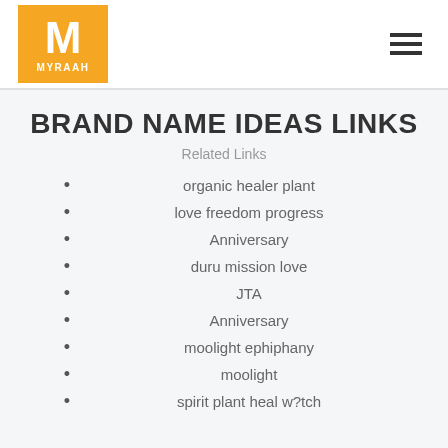MYRAAH
BRAND NAME IDEAS LINKS
Related Links
organic healer plant
love freedom progress
Anniversary
duru mission love
JTA
Anniversary
moolight ephiphany
moolight
spirit plant heal w?tch